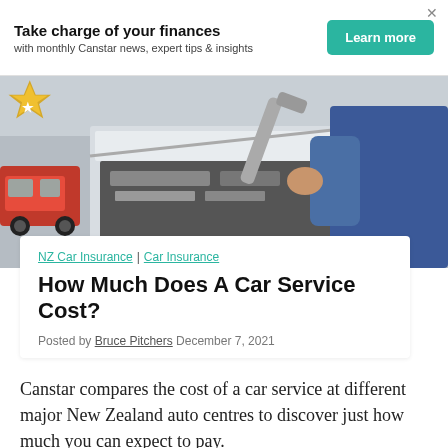Take charge of your finances
with monthly Canstar news, expert tips & insights
[Figure (photo): A mechanic in a blue uniform holding a wrench over an open car engine hood, with a red vehicle in the background]
NZ Car Insurance | Car Insurance
How Much Does A Car Service Cost?
Posted by Bruce Pitchers December 7, 2021
Canstar compares the cost of a car service at different major New Zealand auto centres to discover just how much you can expect to pay.